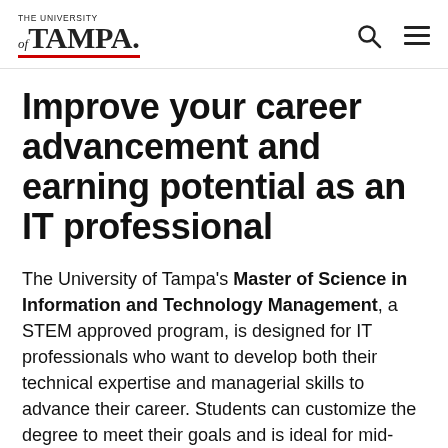THE UNIVERSITY OF TAMPA [logo with search and menu icons]
Improve your career advancement and earning potential as an IT professional
The University of Tampa's Master of Science in Information and Technology Management, a STEM approved program, is designed for IT professionals who want to develop both their technical expertise and managerial skills to advance their career. Students can customize the degree to meet their goals and is ideal for mid-career professionals as well as younger employees seeking accelerated career growth